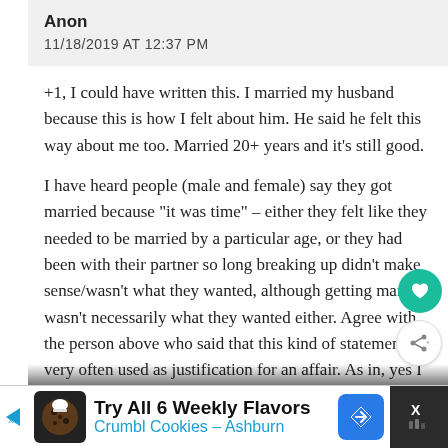Anon
11/18/2019 AT 12:37 PM
+1, I could have written this. I married my husband because this is how I felt about him. He said he felt this way about me too. Married 20+ years and it’s still good.
I have heard people (male and female) say they got married because “it was time” – either they felt like they needed to be married by a particular age, or they had been with their partner so long breaking up didn’t make sense/wasn’t what they wanted, although getting married wasn’t necessarily what they wanted either. Agree with the person above who said that this kind of statement is very often used as justification for an affair. As in, yes I am married to this person but I...
[Figure (infographic): Advertisement banner: Try All 6 Weekly Flavors - Crumbl Cookies - Ashburn, with cookie icon and blue navigation arrow icon, and close button on right]